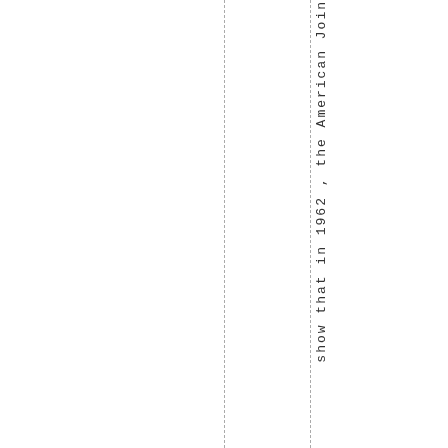show that in 1962 , the American Join